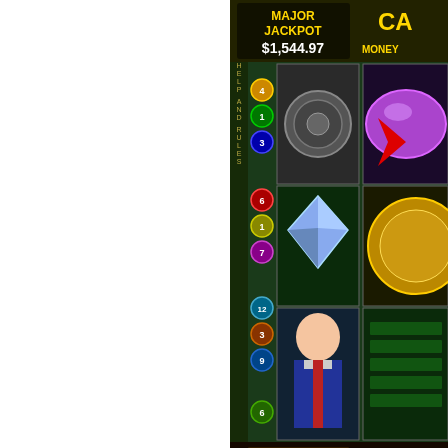[Figure (screenshot): Casino slot machine game screenshot showing Major Jackpot $1,544.97, reels with vault, diamond, and man symbols, BLIZLUCK game interface with balance $5,425.52]
Next, you are taken to a screen with 10 bank vaults arranged in two rows of 5. You receive a message from one of the vaults. Payouts of up to 100 times the bet are possible
[Figure (screenshot): Casino bonus game screenshot showing VAULT 1 with 3x BET and VAULT 6 with 3x BET, gold vault doors interface with Va... and Tota... labels visible]